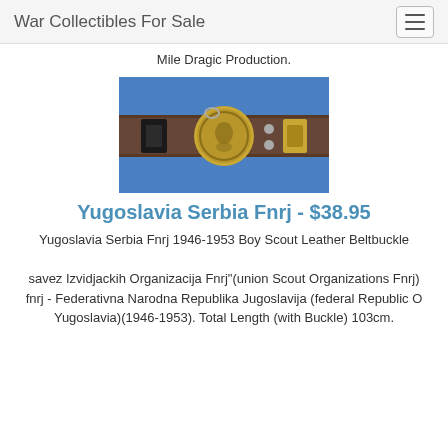War Collectibles For Sale
Mile Dragic Production.
[Figure (photo): A brass/gold colored Boy Scout belt buckle with inscription, on a brown leather belt, displayed on a blue background.]
Yugoslavia Serbia Fnrj - $38.95
Yugoslavia Serbia Fnrj 1946-1953 Boy Scout Leather Beltbuckle savez Izvidjackih Organizacija Fnrj"(union Scout Organizations Fnrj) - fnrj - Federativna Narodna Republika Jugoslavija (federal Republic Of Yugoslavia)(1946-1953). Total Length (with Buckle) 103cm.